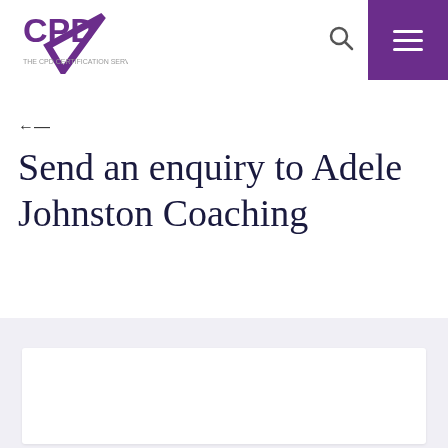CPD
←
Send an enquiry to Adele Johnston Coaching